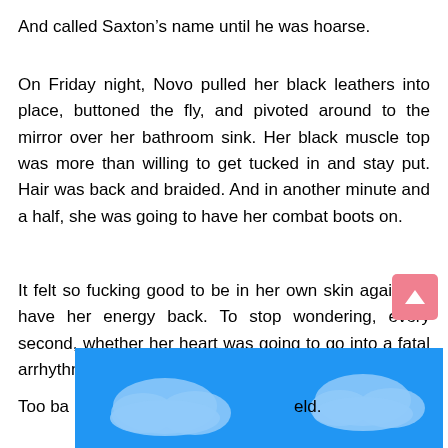And called Saxton’s name until he was hoarse.
On Friday night, Novo pulled her black leathers into place, buttoned the fly, and pivoted around to the mirror over her bathroom sink. Her black muscle top was more than willing to get tucked in and stay put. Hair was back and braided. And in another minute and a half, she was going to have her combat boots on.
It felt so fucking good to be in her own skin again. To have her energy back. To stop wondering, every second, whether her heart was going to go into a fatal arrhythmia.
Too ba…eld.
[Figure (illustration): Blue sky with clouds banner/ad overlay at bottom of page, with a pink scroll-to-top button in bottom right corner.]